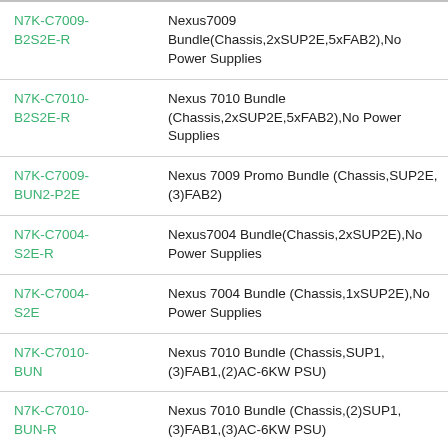| Product ID | Description |
| --- | --- |
| N7K-C7009-B2S2E-R | Nexus7009 Bundle(Chassis,2xSUP2E,5xFAB2),No Power Supplies |
| N7K-C7010-B2S2E-R | Nexus 7010 Bundle (Chassis,2xSUP2E,5xFAB2),No Power Supplies |
| N7K-C7009-BUN2-P2E | Nexus 7009 Promo Bundle (Chassis,SUP2E,(3)FAB2) |
| N7K-C7004-S2E-R | Nexus7004 Bundle(Chassis,2xSUP2E),No Power Supplies |
| N7K-C7004-S2E | Nexus 7004 Bundle (Chassis,1xSUP2E),No Power Supplies |
| N7K-C7010-BUN | Nexus 7010 Bundle (Chassis,SUP1,(3)FAB1,(2)AC-6KW PSU) |
| N7K-C7010-BUN-R | Nexus 7010 Bundle (Chassis,(2)SUP1,(3)FAB1,(3)AC-6KW PSU) |
| N7K-C7009- | Nexus 7009 Bundle (Chassis,SUP1,(5)FAB2,(2)AC- |